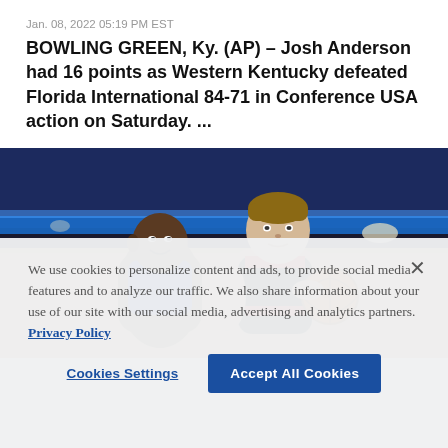Jan. 08, 2022 05:19 PM EST
BOWLING GREEN, Ky. (AP) – Josh Anderson had 16 points as Western Kentucky defeated Florida International 84-71 in Conference USA action on Saturday. ...
[Figure (photo): Two basketball players competing on the court, one in a blue uniform and one in a black and red uniform holding a basketball, with a blue-lit arena background.]
We use cookies to personalize content and ads, to provide social media features and to analyze our traffic. We also share information about your use of our site with our social media, advertising and analytics partners.  Privacy Policy
Cookies Settings
Accept All Cookies